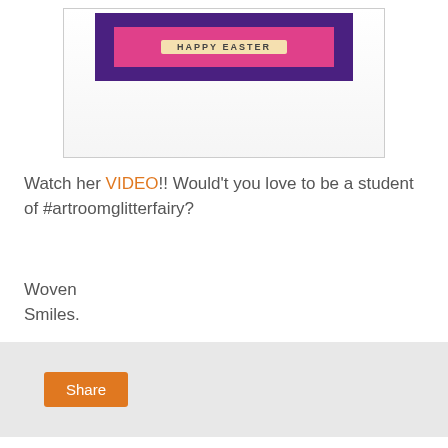[Figure (photo): A greeting card with a purple border and pink background, showing a decorative label or banner in the center, partially visible at the top of the page.]
Watch her VIDEO!! Would't you love to be a student of #artroomglitterfairy?
Woven
Smiles.
[Figure (other): Share button area with orange Share button on a light gray background]
12 comments:
Joanne  April 6, 2020 at 12:19 PM